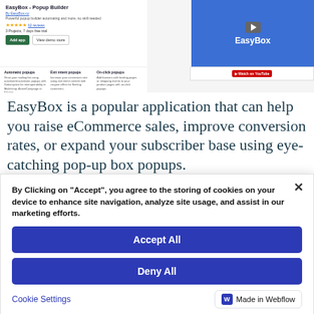[Figure (screenshot): Screenshot of EasyBox - Popup Builder app listing page showing app title, description, star rating, buttons (Add app, View demo store), a blue video thumbnail with EasyBox logo, YouTube bar, and three feature columns: Automatic popups, Exit intent popups, On-click popups.]
EasyBox is a popular application that can help you raise eCommerce sales, improve conversion rates, or expand your subscriber base using eye-catching pop-up box popups.
By Clicking on "Accept", you agree to the storing of cookies on your device to enhance site navigation, analyze site usage, and assist in our marketing efforts.
Accept All
Deny All
Cookie Settings
Made in Webflow